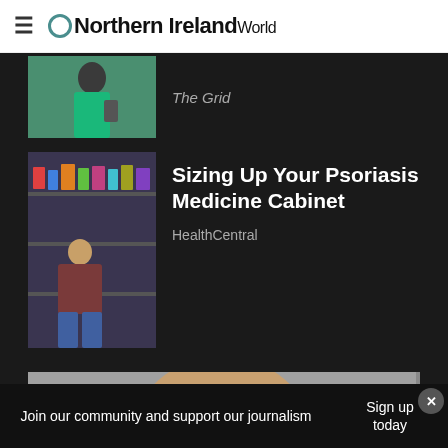Northern Ireland World
[Figure (photo): Partially cropped photo of a woman in a teal/green top looking at a phone]
The Grid
[Figure (photo): Woman browsing products in a pharmacy or store aisle]
Sizing Up Your Psoriasis Medicine Cabinet
HealthCentral
[Figure (photo): Large cropped photo of a bald elderly man's head]
[Figure (infographic): Advertisement: Back To School Shopping Deals – Leesburg Premium Outlets]
Join our community and support our journalism
Sign up today